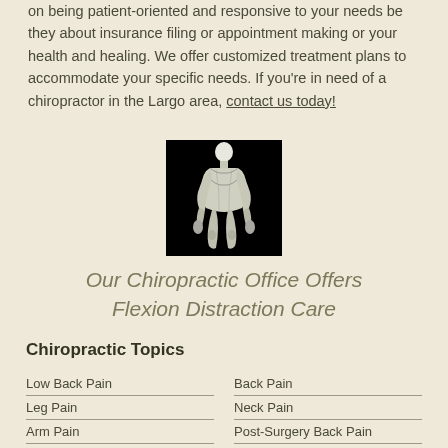on being patient-oriented and responsive to your needs be they about insurance filing or appointment making or your health and healing. We offer customized treatment plans to accommodate your specific needs. If you're in need of a chiropractor in the Largo area, contact us today!
[Figure (illustration): Black and white illustration of a human figure showing musculature or skeletal structure, standing upright against a black background.]
Our Chiropractic Office Offers Flexion Distraction Care
Chiropractic Topics
Low Back Pain
Back Pain
Leg Pain
Neck Pain
Arm Pain
Post-Surgery Back Pain
Spine Glossary
Sciatica